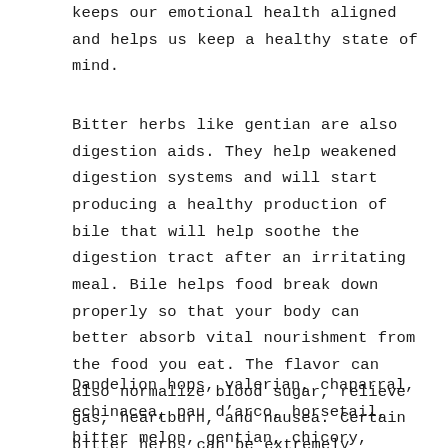keeps our emotional health aligned and helps us keep a healthy state of mind.
Bitter herbs like gentian are also digestion aids. They help weakened digestion systems and will start producing a healthy production of bile that will help soothe the digestion tract after an irritating meal. Bile helps food break down properly so that your body can better absorb vital nourishment from the food you eat. The flavor can also normalize blood sugar, relieve gas, heartburn, and nausea. Certain bitter herbs can be extremely purgative and induce bowel movements when in extreme need.
Dandelion hops, valerian, chaparral, echinacea, pau d’arco, horsetail, bitter melon, gentian, chicory, yellow dock, burdock, feverfew, vervain, sage, poppy,